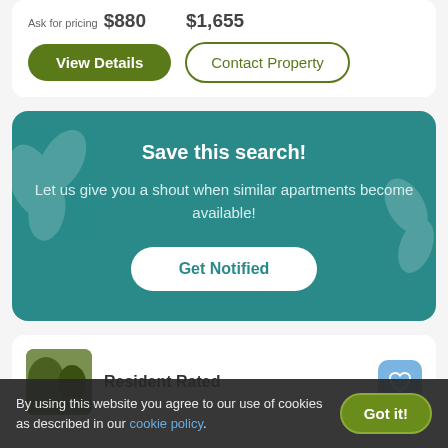Ask for pricing  $880  $1,655
View Details
Contact Property
Save this search!
Let us give you a shout when similar apartments become available!
Get Notified
Resident Rated
By using this website you agree to our use of cookies as described in our cookie policy.
Got it!